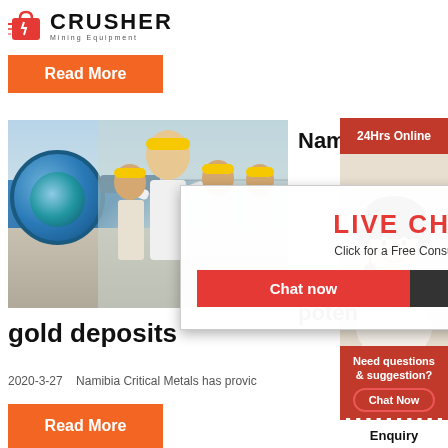[Figure (logo): Crusher Mining Equipment logo with red shopping bag icon and bold CRUSHER text]
Read More
[Figure (photo): Photo of industrial mining ball mill equipment with workers in yellow hard hats]
Namibia
[Figure (photo): 24Hrs Online customer service representative with headset]
24Hrs Online
LIVE CHAT
Click for a Free Consultation
Chat now	Chat later
poten
gold deposits
2020-3-27   Namibia Critical Metals has provic
Read More
Need questions & suggestion?
Chat Now
Enquiry
limingjlmofen@sina.com